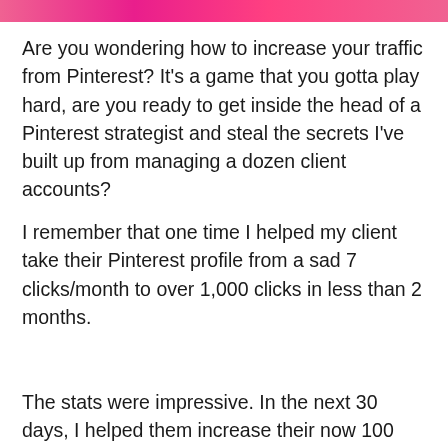[Figure (photo): Pink/magenta banner image strip at the top of the page]
Are you wondering how to increase your traffic from Pinterest? It's a game that you gotta play hard, are you ready to get inside the head of a Pinterest strategist and steal the secrets I've built up from managing a dozen client accounts?
I remember that one time I helped my client take their Pinterest profile from a sad 7 clicks/month to over 1,000 clicks in less than 2 months.
The stats were impressive. In the next 30 days, I helped them increase their now 100 clicks in a